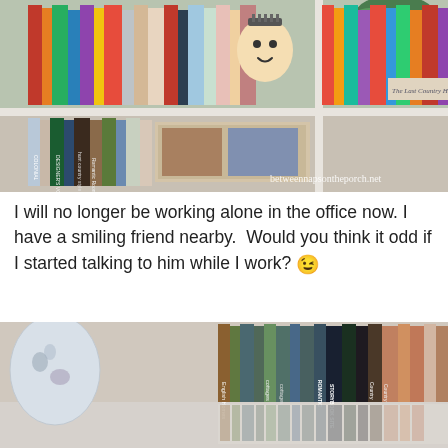[Figure (photo): Photograph of a white bookshelf filled with colorful books spine-out, a smiling ceramic face/head decoration on top shelf, a plant, and a book titled 'The Last Country Houses'. Watermark reads 'betweennapsontheporch.net'.]
I will no longer be working alone in the office now. I have a smiling friend nearby.  Would you think it odd if I started talking to him while I work? 😉
[Figure (photo): Photograph of a bookshelf with books visible spine-out including titles such as 'cottages', 'ROMANTIC', 'STORYBOOK STYLE', 'Country', partially visible lower shelf with a decorative vase on the left.]